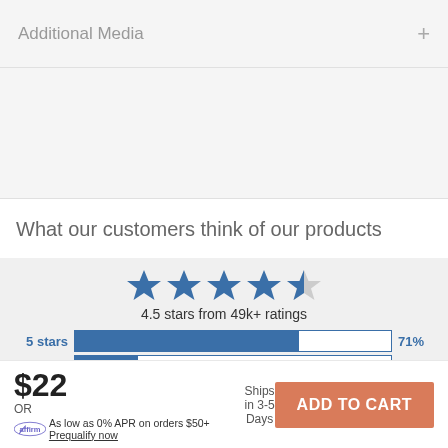Additional Media
What our customers think of our products
[Figure (other): Star rating display showing 4.5 stars (4 full blue stars, 1 half star) with text '4.5 stars from 49k+ ratings' and horizontal bar chart showing: 5 stars 71%, 4 stars 20%, 3 stars 5%, 2 stars 2%]
$22
Ships in 3-5 Days
ADD TO CART
OR As low as 0% APR on orders $50+ Prequalify now